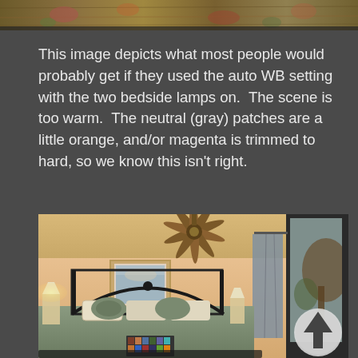[Figure (photo): Top portion of a warm-toned bedroom photo showing decorative tapestry or artwork with natural/floral tones, partially cropped at top of page]
This image depicts what most people would probably get if they used the auto WB setting with the two bedside lamps on.  The scene is too warm.  The neutral (gray) patches are a little orange, and/or magenta is trimmed to hard, so we know this isn't right.
[Figure (photo): Interior bedroom photo showing a bed with decorative pillows and bedspread, wrought iron headboard, ceiling fan, framed artwork on wall, curtains, sliding glass door with exterior garden view, lamp on bedside table, and a color checker card in lower portion of image. A circular navigation arrow button overlays the lower right.]